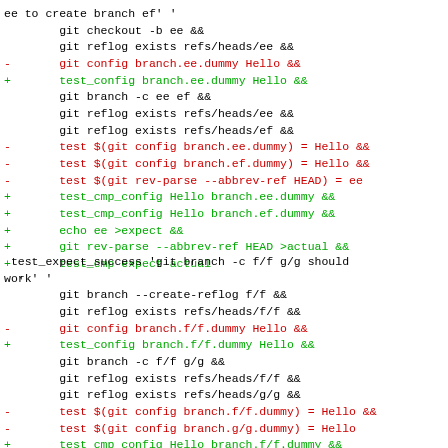ee to create branch ef' '
        git checkout -b ee &&
        git reflog exists refs/heads/ee &&
-       git config branch.ee.dummy Hello &&
+       test_config branch.ee.dummy Hello &&
        git branch -c ee ef &&
        git reflog exists refs/heads/ee &&
        git reflog exists refs/heads/ef &&
-       test $(git config branch.ee.dummy) = Hello &&
-       test $(git config branch.ef.dummy) = Hello &&
-       test $(git rev-parse --abbrev-ref HEAD) = ee
+       test_cmp_config Hello branch.ee.dummy &&
+       test_cmp_config Hello branch.ef.dummy &&
+       echo ee >expect &&
+       git rev-parse --abbrev-ref HEAD >actual &&
+       test_cmp expect actual
'
test_expect_success 'git branch -c f/f g/g should work' '
        git branch --create-reflog f/f &&
        git reflog exists refs/heads/f/f &&
-       git config branch.f/f.dummy Hello &&
+       test_config branch.f/f.dummy Hello &&
        git branch -c f/f g/g &&
        git reflog exists refs/heads/f/f &&
        git reflog exists refs/heads/g/g &&
-       test $(git config branch.f/f.dummy) = Hello &&
-       test $(git config branch.g/g.dummy) = Hello
+       test_cmp_config Hello branch.f/f.dummy &&